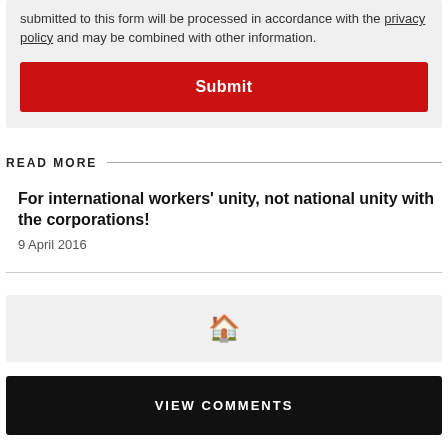submitted to this form will be processed in accordance with the privacy policy and may be combined with other information.
Submit
READ MORE
For international workers' unity, not national unity with the corporations!
9 April 2016
[Figure (other): Home icon navigation button]
VIEW COMMENTS